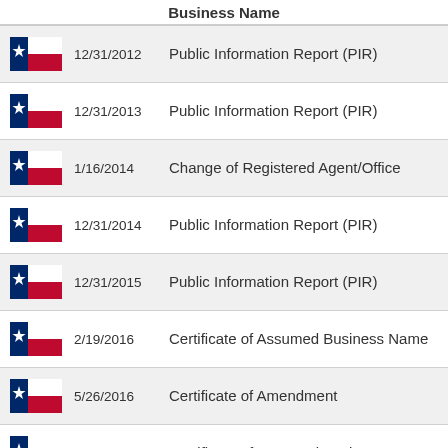Business Name
|  | Date | Filing Type |
| --- | --- | --- |
| [TX flag] | 12/31/2012 | Public Information Report (PIR) |
| [TX flag] | 12/31/2013 | Public Information Report (PIR) |
| [TX flag] | 1/16/2014 | Change of Registered Agent/Office |
| [TX flag] | 12/31/2014 | Public Information Report (PIR) |
| [TX flag] | 12/31/2015 | Public Information Report (PIR) |
| [TX flag] | 2/19/2016 | Certificate of Assumed Business Name |
| [TX flag] | 5/26/2016 | Certificate of Amendment |
| [TX flag] | 5/27/2016 | Certificate of Assumed Business Name |